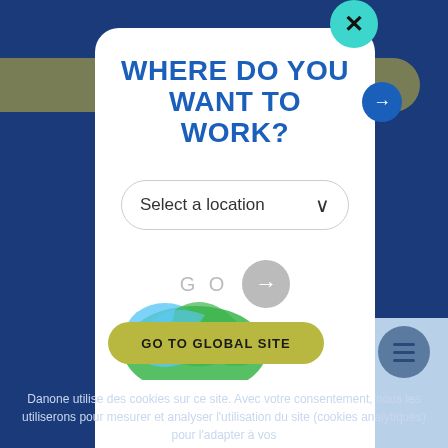WHERE DO YOU WANT TO WORK?
Select a location
GO →
GO TO GLOBAL SITE
Danone utilise des cookies sur ce site. Avec votre consentement, nous les utiliserons pour mesurer et analyser l'utilisation du site (cookies analytiques) pour l'adapter à vos